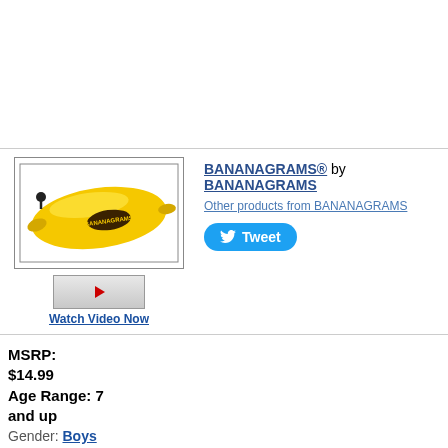[Figure (photo): Product photo of Bananagrams game in yellow banana-shaped pouch]
[Figure (other): Video thumbnail with play button]
Watch Video Now
BANANAGRAMS® by BANANAGRAMS
Other products from BANANAGRAMS
Tweet
MSRP:
$14.99
Age Range: 7 and up
Gender: Boys And Girls
Category: General Games Educational Award